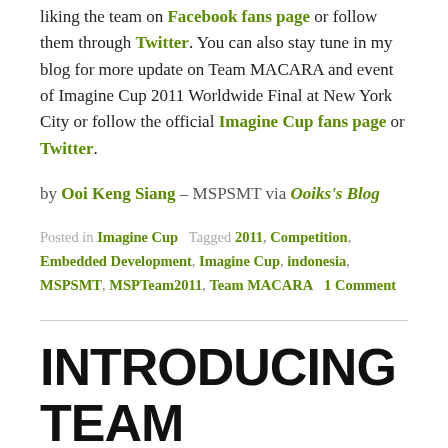liking the team on Facebook fans page or follow them through Twitter. You can also stay tune in my blog for more update on Team MACARA and event of Imagine Cup 2011 Worldwide Final at New York City or follow the official Imagine Cup fans page or Twitter.
by Ooi Keng Siang – MSPSMT via Ooiks's Blog
Posted in Imagine Cup   Tagged 2011, Competition, Embedded Development, Imagine Cup, indonesia, MSPSMT, MSPTeam2011, Team MACARA   1 Comment
INTRODUCING TEAM GATOTKACA FROM INDONESIA